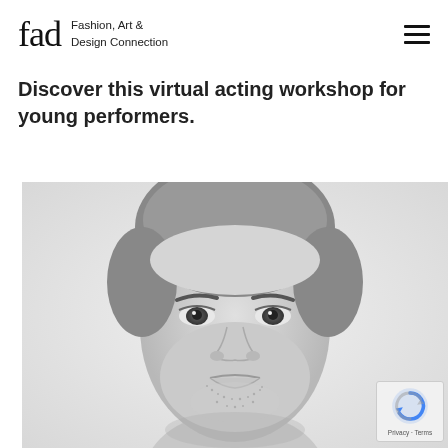fad — Fashion, Art & Design Connection
Discover this virtual acting workshop for young performers.
[Figure (photo): Black and white close-up portrait photo of a young man with short hair and stubble beard, looking directly at the camera with a neutral expression.]